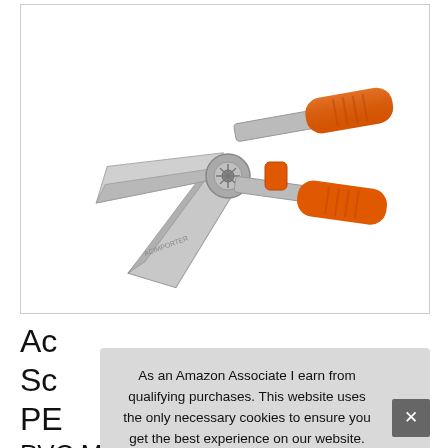[Figure (photo): Product photo of metal multi-angle mitre shear cutter tool with orange handles and silver blades, positioned diagonally on white background.]
Ac Sc PE PVC Multi Angle Mitre Shear Cutter 45-
As an Amazon Associate I earn from qualifying purchases. This website uses the only necessary cookies to ensure you get the best experience on our website. More information